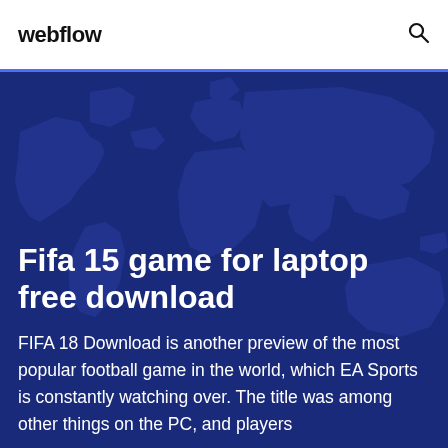webflow
Fifa 15 game for laptop free download
FIFA 18 Download is another preview of the most popular football game in the world, which EA Sports is constantly watching over. The title was among other things on the PC, and players